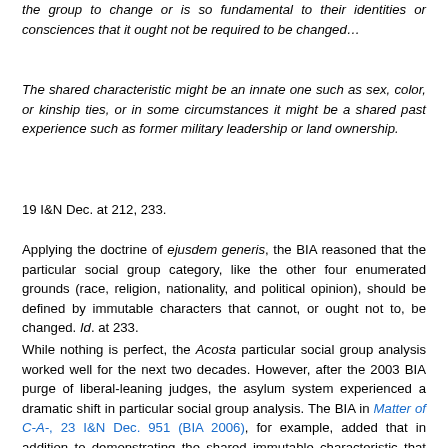the group to change or is so fundamental to their identities or consciences that it ought not be required to be changed…
The shared characteristic might be an innate one such as sex, color, or kinship ties, or in some circumstances it might be a shared past experience such as former military leadership or land ownership.
19 I&N Dec. at 212, 233.
Applying the doctrine of ejusdem generis, the BIA reasoned that the particular social group category, like the other four enumerated grounds (race, religion, nationality, and political opinion), should be defined by immutable characters that cannot, or ought not to, be changed. Id. at 233.
While nothing is perfect, the Acosta particular social group analysis worked well for the next two decades. However, after the 2003 BIA purge of liberal-leaning judges, the asylum system experienced a dramatic shift in particular social group analysis. The BIA in Matter of C-A-, 23 I&N Dec. 951 (BIA 2006), for example, added that in addition to demonstrating the shared immutable characteristic that defines the